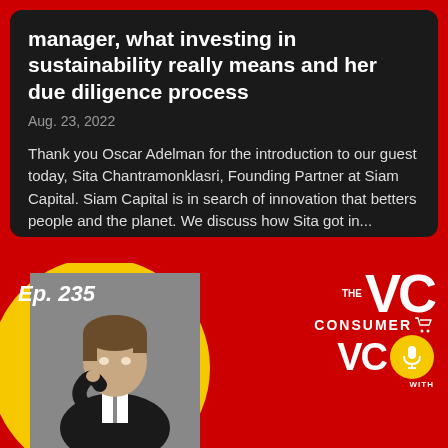manager, what investing in sustainability really means and her due diligence process
Aug. 23, 2022
Thank you Oscar Adelman for the introduction to our guest today, Sita Chantramonklasri, Founding Partner at Siam Capital. Siam Capital is in search of innovation that betters people and the planet. We discuss how Sita got in...
[Figure (screenshot): Bottom section of a podcast app card showing Episode 235 with a photo of a man in a suit, a yellow circle background element, and 'The Consumer VC' podcast logo with shopping cart and microphone icons on a red background.]